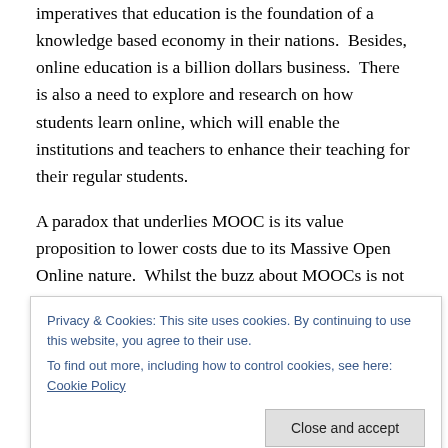imperatives that education is the foundation of a knowledge based economy in their nations.  Besides, online education is a billion dollars business.  There is also a need to explore and research on how students learn online, which will enable the institutions and teachers to enhance their teaching for their regular students.
A paradox that underlies MOOC is its value proposition to lower costs due to its Massive Open Online nature.  Whilst the buzz about MOOCs is not due to the technology's intrinsic educational value, but due to the seductive
Privacy & Cookies: This site uses cookies. By continuing to use this website, you agree to their use.
To find out more, including how to control cookies, see here: Cookie Policy
Another paradox lies with the degree of participation – the